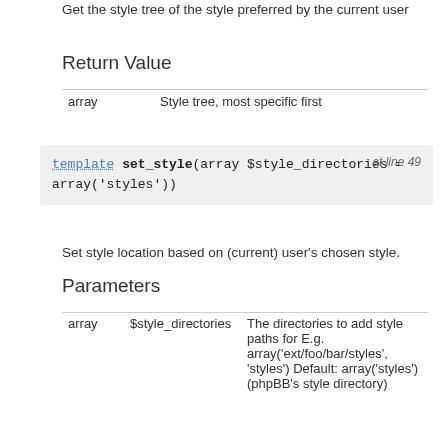Get the style tree of the style preferred by the current user
Return Value
|  |  |
| --- | --- |
| array | Style tree, most specific first |
template set_style(array $style_directories = array('styles'))  at line 49
Set style location based on (current) user's chosen style.
Parameters
|  |  |  |
| --- | --- | --- |
| array | $style_directories | The directories to add style paths for E.g. array('ext/foo/bar/styles', 'styles') Default: array('styles') (phpBB's style directory) |